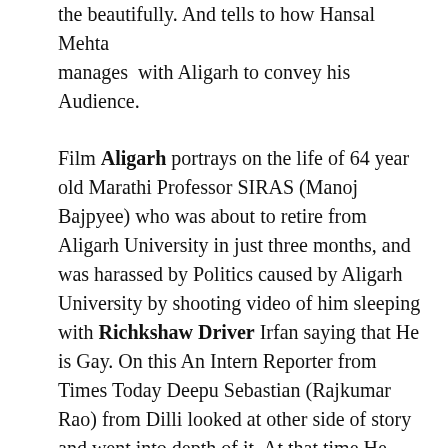the beautifully. And tells to how Hansal Mehta manages with Aligarh to convey his Audience.
Film Aligarh portrays on the life of 64 year old Marathi Professor SIRAS (Manoj Bajpyee) who was about to retire from Aligarh University in just three months, and was harassed by Politics caused by Aligarh University by shooting video of him sleeping with Richkshaw Driver Irfan saying that He is Gay. On this An Intern Reporter from Times Today Deepu Sebastian (Rajkumar Rao) from Dilli looked at other side of story and went into depth of it. At that time He planned his journey from DILLI to Aligarh to go into depth of it for writing. Also felt sorry on cheapness of University and raised topic that “What right has someone to enter in their private lives”
But till the Time Section 377 came under power and supported the cause of Professor Siras, and Case went